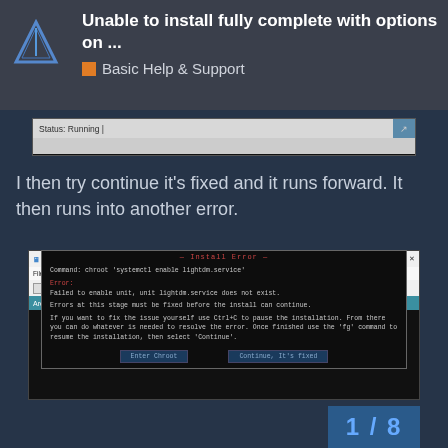Unable to install fully complete with options on ...
Basic Help & Support
[Figure (screenshot): Status: Running bar screenshot]
I then try continue it's fixed and it runs forward. It then runs into another error.
[Figure (screenshot): Virtual Machine Manager window showing Arch Linux installer with an Install Error dialog box. Command: chroot 'systemctl enable lightdm.service'. Error: Failed to enable unit, unit lightdm.service does not exist. Errors at this stage must be fixed before the install can continue. Buttons: Enter Chroot, Continue, It's fixed.]
1 / 8